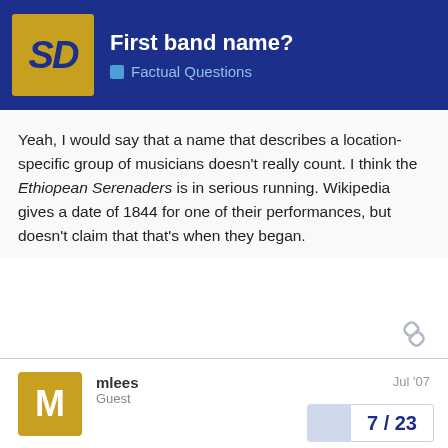First band name? — Factual Questions
Yeah, I would say that a name that describes a location-specific group of musicians doesn't really count. I think the Ethiopean Serenaders is in serious running. Wikipedia gives a date of 1844 for one of their performances, but doesn't claim that that's when they began.
mlees — Guest — Jul '07
Did the wandering troops of minstrels and such (which might include circus act type of performers, too) in the Medieval times have names for thier troops?

Baron Munchausen and his Merry Minstrels?
7 / 23